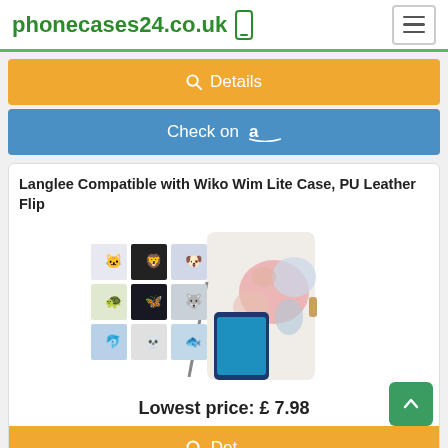phonecases24.co.uk
Details
Check on Amazon
Langlee Compatible with Wiko Wim Lite Case, PU Leather Flip
[Figure (photo): Product photo of a phone case for Wiko Wim Lite with floral design and a collage of pattern options]
Lowest price: £ 7.98
Details